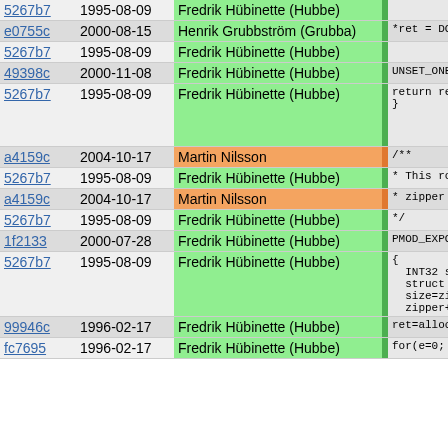| Hash | Date | Author |  | Code |
| --- | --- | --- | --- | --- |
| 5267b7 | 1995-08-09 | Fredrik Hübinette (Hubbe) |  |  |
| e0755c | 2000-08-15 | Henrik Grubbström (Grubba) |  | *ret = DO_ |
| 5267b7 | 1995-08-09 | Fredrik Hübinette (Hubbe) |  |  |
| 49398c | 2000-11-08 | Fredrik Hübinette (Hubbe) |  | UNSET_ONEF |
| 5267b7 | 1995-08-09 | Fredrik Hübinette (Hubbe) |  | return ret
} |
| a4159c | 2004-10-17 | Martin Nilsson |  | /** |
| 5267b7 | 1995-08-09 | Fredrik Hübinette (Hubbe) |  | * This rout |
| a4159c | 2004-10-17 | Martin Nilsson |  | * zipper no |
| 5267b7 | 1995-08-09 | Fredrik Hübinette (Hubbe) |  | */ |
| 1f2133 | 2000-07-28 | Fredrik Hübinette (Hubbe) |  | PMOD_EXPORT |
| 5267b7 | 1995-08-09 | Fredrik Hübinette (Hubbe) |  | {
  INT32 size
  struct arr
  size=zippe
  zipper++; |
| 99946c | 1996-02-17 | Fredrik Hübinette (Hubbe) |  | ret=alloca |
| fc7695 | 1996-02-17 | Fredrik Hübinette (Hubbe) |  | for(e=0; e |